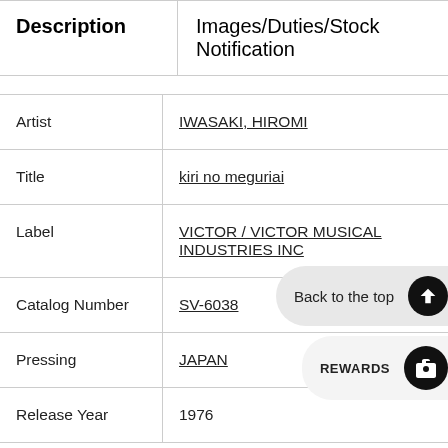| Description | Images/Duties/Stock Notification |
| --- | --- |
| Artist | IWASAKI, HIROMI |
| Title | kiri no meguriai |
| Label | VICTOR / VICTOR MUSICAL INDUSTRIES INC |
| Catalog Number | SV-6038 |
| Pressing | JAPAN |
| Release Year | 1976 |